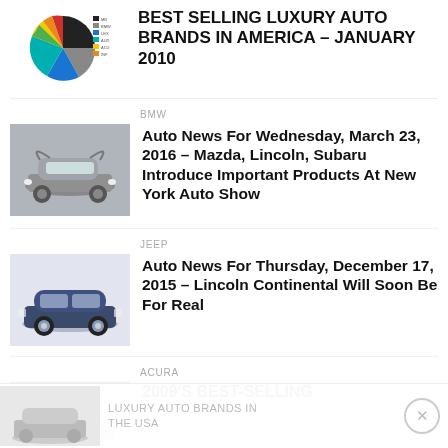[Figure (pie-chart): Pie chart showing best selling luxury auto brands in America - January 2010]
BEST SELLING LUXURY AUTO BRANDS IN AMERICA – JANUARY 2010
BMW
[Figure (photo): Gray convertible sports car with gull-wing doors]
Auto News For Wednesday, March 23, 2016 – Mazda, Lincoln, Subaru Introduce Important Products At New York Auto Show
JEEP
[Figure (photo): Dark blue Lincoln Continental sedan on light background]
Auto News For Thursday, December 17, 2015 – Lincoln Continental Will Soon Be For Real
ACURA
[Figure (photo): Car photo partially visible]
2009'S BEST-SELLING
LUXURY AUTO BRANDS IN THE USA